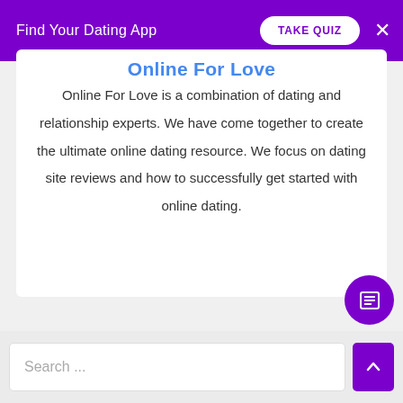Find Your Dating App  TAKE QUIZ  ×
Online For Love
Online For Love is a combination of dating and relationship experts. We have come together to create the ultimate online dating resource. We focus on dating site reviews and how to successfully get started with online dating.
Search ...